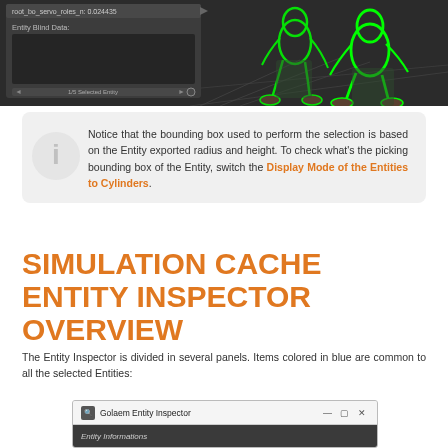[Figure (screenshot): 3D viewport screenshot showing animated character with green outline selection highlight on dark background, alongside a UI panel showing Entity Blind Data and 1/5 Selected Entity controls]
Notice that the bounding box used to perform the selection is based on the Entity exported radius and height. To check what's the picking bounding box of the Entity, switch the Display Mode of the Entities to Cylinders.
SIMULATION CACHE ENTITY INSPECTOR OVERVIEW
The Entity Inspector is divided in several panels. Items colored in blue are common to all the selected Entities:
[Figure (screenshot): Golaem Entity Inspector window titlebar with icon, title text, minimize, maximize, and close buttons, and Entity Informations section header on dark background]